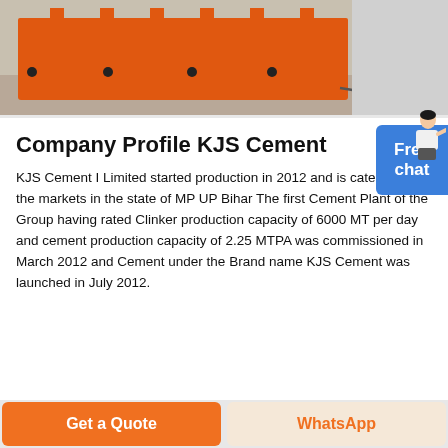[Figure (photo): Orange industrial machine/vibrating screen equipment photographed against a workshop floor background]
Company Profile KJS Cement
KJS Cement I Limited started production in 2012 and is catering to the markets in the state of MP UP Bihar The first Cement Plant of the Group having rated Clinker production capacity of 6000 MT per day and cement production capacity of 2.25 MTPA was commissioned in March 2012 and Cement under the Brand name KJS Cement was launched in July 2012.